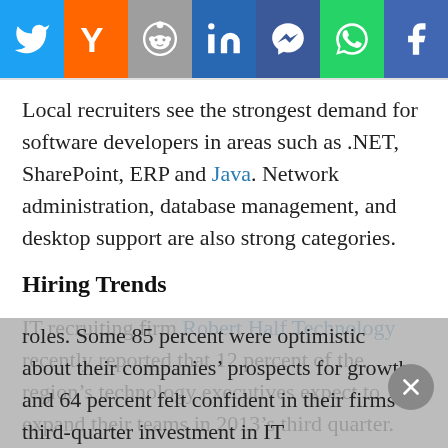[Figure (other): Social media share bar with icons for Twitter, Y Combinator, Reddit, LinkedIn, Messenger, WhatsApp, and Facebook]
Local recruiters see the strongest demand for software developers in areas such as .NET, SharePoint, ERP and Java. Network administration, database management, and desktop support are also strong categories.
Hiring Trends
IT recruiting firm Robert Half Technology recently reported that 12 percent of the region's technology executives expect to expand their teams in 2013's third quarter. That's down from 16 percent in the second quarter. However, 59 percent plan to hire to fill open roles. Some 85 percent were optimistic about their companies' prospects for growth, and 64 percent felt confident in their firms' third-quarter investment in IT